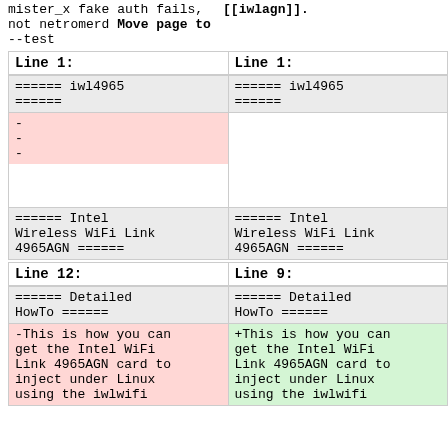mister_x fake auth fails, not netromerd Move page to --test [[iwlagn]].
| Line 1: | Line 1: |
| --- | --- |
| ====== iwl4965
====== | ====== iwl4965
====== |
| -
-
- |  |
| ====== Intel Wireless WiFi Link 4965AGN ====== | ====== Intel Wireless WiFi Link 4965AGN ====== |
| Line 12: | Line 9: |
| --- | --- |
| ====== Detailed HowTo ====== | ====== Detailed HowTo ====== |
| -This is how you can get the Intel WiFi Link 4965AGN card to inject under Linux using the iwlwifi | +This is how you can get the Intel WiFi Link 4965AGN card to inject under Linux using the iwlwifi |